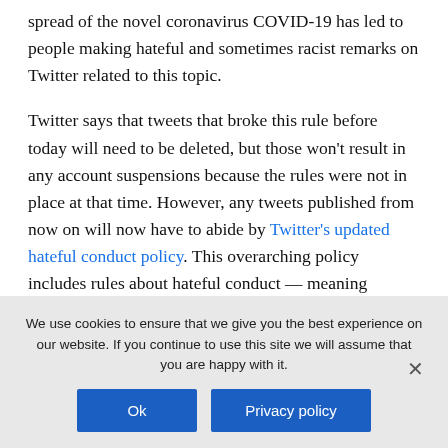spread of the novel coronavirus COVID-19 has led to people making hateful and sometimes racist remarks on Twitter related to this topic.
Twitter says that tweets that broke this rule before today will need to be deleted, but those won't result in any account suspensions because the rules were not in place at that time. However, any tweets published from now on will now have to abide by Twitter's updated hateful conduct policy. This overarching policy includes rules about hateful conduct — meaning promoting violence or making threats — as well as the
We use cookies to ensure that we give you the best experience on our website. If you continue to use this site we will assume that you are happy with it.